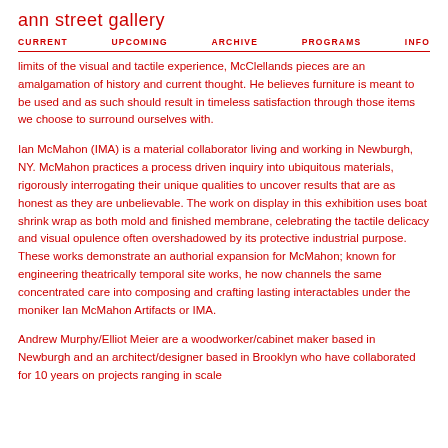ann street gallery
CURRENT   UPCOMING   ARCHIVE   PROGRAMS   INFO
limits of the visual and tactile experience, McClellands pieces are an amalgamation of history and current thought. He believes furniture is meant to be used and as such should result in timeless satisfaction through those items we choose to surround ourselves with.
Ian McMahon (IMA) is a material collaborator living and working in Newburgh, NY. McMahon practices a process driven inquiry into ubiquitous materials, rigorously interrogating their unique qualities to uncover results that are as honest as they are unbelievable. The work on display in this exhibition uses boat shrink wrap as both mold and finished membrane, celebrating the tactile delicacy and visual opulence often overshadowed by its protective industrial purpose. These works demonstrate an authorial expansion for McMahon; known for engineering theatrically temporal site works, he now channels the same concentrated care into composing and crafting lasting interactables under the moniker Ian McMahon Artifacts or IMA.
Andrew Murphy/Elliot Meier are a woodworker/cabinet maker based in Newburgh and an architect/designer based in Brooklyn who have collaborated for 10 years on projects ranging in scale